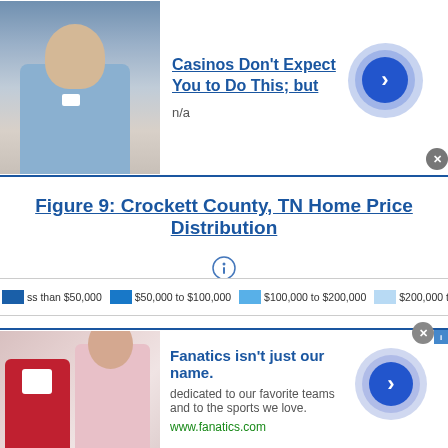[Figure (photo): Top advertisement banner: photo of person in blue shirt, ad reads 'Casinos Don't Expect You to Do This; but' with 'n/a' subtitle and blue arrow button]
Figure 9: Crockett County, TN Home Price Distribution
[Figure (infographic): Info icon (i in circle) below the figure title]
[Figure (bar-chart): Partial bar chart showing two bars: dark blue bar for $50,000 to $100,000 range (taller) and medium blue bar for $100,000 to $200,000 range (shorter). Legend shows: less than $50,000, $50,000 to $100,000, $100,000 to $200,000, $200,000 to $300,000]
[Figure (photo): Bottom advertisement banner: Fanatics clothing ad with red jacket and person in pink, reads 'Fanatics isn't just our name.' subtitle 'dedicated to our favorite teams and to the sports we love.' with www.fanatics.com link]